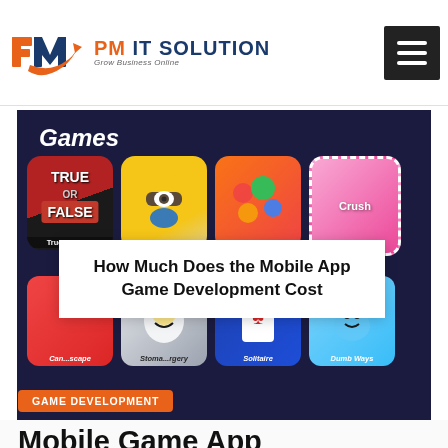PM IT SOLUTION — Grow Business Online
[Figure (screenshot): Mobile phone screen showing a Games section with multiple game app icons including True or False, Minions, bubble game, Candy Crush, Can...scape, Stoma...rgery, Solitaire, Dumb Ways. An overlaid white box shows the title 'How Much Does the Mobile App Game Development Cost']
How Much Does the Mobile App Game Development Cost
GAME DEVELOPMENT
Mobile Game App